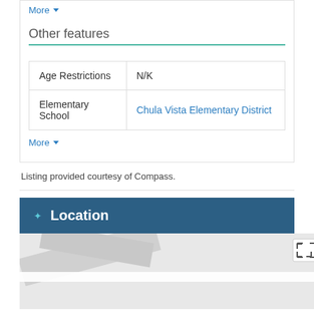More ▾
Other features
|  |  |
| --- | --- |
| Age Restrictions | N/K |
| Elementary School | Chula Vista Elementary District |
More ▾
Listing provided courtesy of Compass.
Location
[Figure (map): Street map showing Montecito Park area with Calle Avila and Birch R streets visible, with a location pin marker]